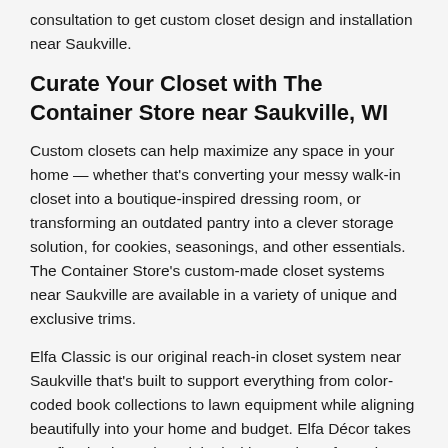consultation to get custom closet design and installation near Saukville.
Curate Your Closet with The Container Store near Saukville, WI
Custom closets can help maximize any space in your home — whether that's converting your messy walk-in closet into a boutique-inspired dressing room, or transforming an outdated pantry into a clever storage solution, for cookies, seasonings, and other essentials. The Container Store's custom-made closet systems near Saukville are available in a variety of unique and exclusive trims.
Elfa Classic is our original reach-in closet system near Saukville that's built to support everything from color-coded book collections to lawn equipment while aligning beautifully into your home and budget. Elfa Décor takes a refined spin on the original with a variety of wood or steel trims and finishes. Avera is a revolutionary custom closet system available near Saukville that offers a built-in walk-in closet look complete with LED lighting and full-extension drawers at an amazing price. Last